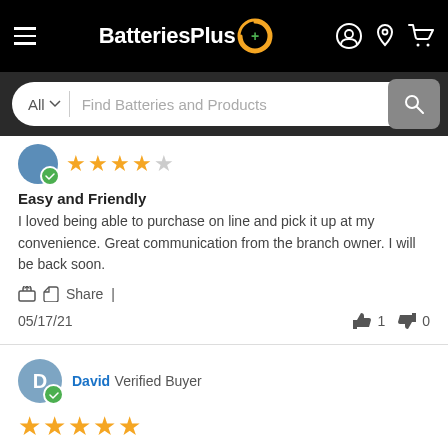[Figure (screenshot): BatteriesPlus website header with logo, search bar, and navigation icons]
Easy and Friendly
I loved being able to purchase on line and pick it up at my convenience. Great communication from the branch owner. I will be back soon.
Share |
05/17/21   👍 1   👎 0
David Verified Buyer
★★★★★
Very knowledgeable & very good service.
Needed 8D start battery for Class A RV. Folks here very knowledgeable. High levels of service. I searched around and